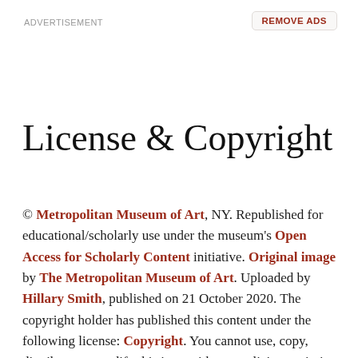ADVERTISEMENT
REMOVE ADS
License & Copyright
© Metropolitan Museum of Art, NY. Republished for educational/scholarly use under the museum's Open Access for Scholarly Content initiative. Original image by The Metropolitan Museum of Art. Uploaded by Hillary Smith, published on 21 October 2020. The copyright holder has published this content under the following license: Copyright. You cannot use, copy, distribute, or modify this item without explicit permission from the author. Please note that content linked from this page may have different licensing terms.